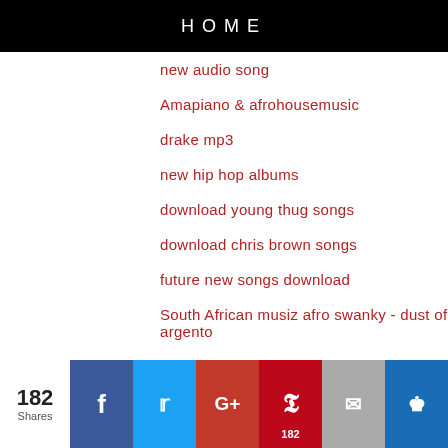HOME
new audio song
Amapiano & afrohousemusic
drake mp3
new hip hop albums
download young thug songs
download chris brown songs
future new songs download
South African musiz afro swanky - dust of argento
album zip pro tee jerusalem
Ghafla Music hayi angifuni mjolo
182 Shares | Facebook | Twitter | G+ | Pinterest 182 | Email | Crown